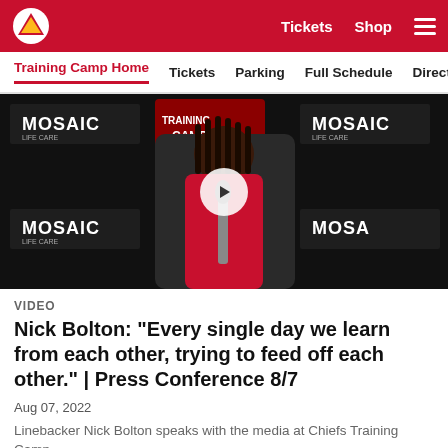Kansas City Chiefs — Tickets  Shop  ☰
Training Camp Home  Tickets  Parking  Full Schedule  Directions
[Figure (photo): Kansas City Chiefs Training Camp press conference video thumbnail featuring linebacker Nick Bolton standing in front of a MOSAIC Life Care / Training Camp backdrop, with a white play button circle overlay in the center.]
VIDEO
Nick Bolton: "Every single day we learn from each other, trying to feed off each other." | Press Conference 8/7
Aug 07, 2022
Linebacker Nick Bolton speaks with the media at Chiefs Training Camp